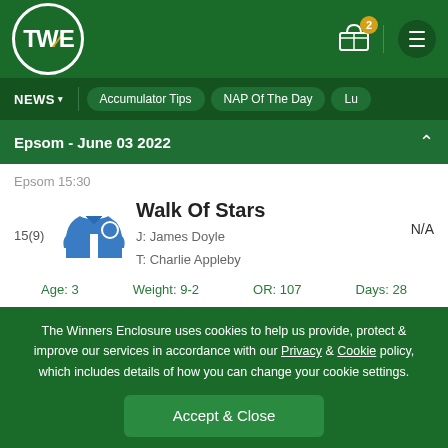[Figure (logo): TWE logo - white circle outline with white bold text TWE and yellow italic slash]
NEWS | Accumulator Tips | NAP Of The Day | Lu...
Epsom - June 03 2022
Epsom 15:30
15(9)
[Figure (illustration): Blue jockey silks/shirt illustration with white circle badge]
Walk Of Stars
J: James Doyle
T: Charlie Appleby
N/A
Age: 3   Weight: 9-2   OR: 107   Days: 28
The Winners Enclosure uses cookies to help us provide, protect & improve our services in accordance with our Privacy & Cookie policy, which includes details of how you can change your cookie settings.
Accept & Close